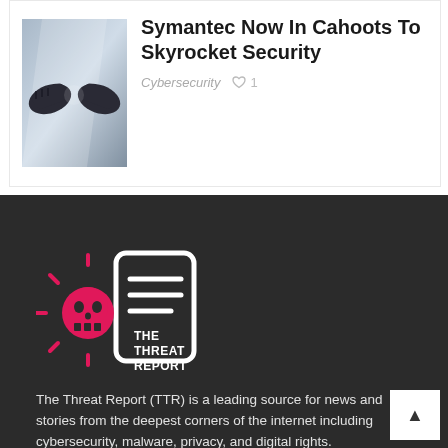[Figure (photo): Fist bump / handshake silhouette image with dramatic lighting]
Symantec Now In Cahoots To Skyrocket Security
Cybersecurity  ♡ 1
[Figure (logo): The Threat Report logo — skull icon with rays and text THE THREAT REPORT]
The Threat Report (TTR) is a leading source for news and stories from the deepest corners of the internet including cybersecurity, malware, privacy, and digital rights.